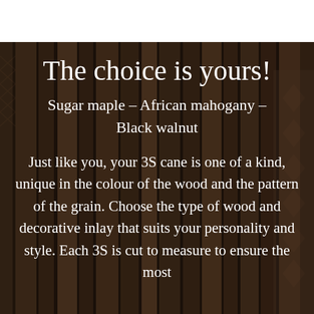[Figure (photo): Background photo of wooden canes/sticks with decorative inlay patterns in dark brown and black tones, arranged vertically.]
The choice is yours!
Sugar maple – African mahogany – Black walnut
Just like you, your 3S cane is one of a kind, unique in the colour of the wood and the pattern of the grain. Choose the type of wood and decorative inlay that suits your personality and style. Each 3S is cut to measure to ensure the most